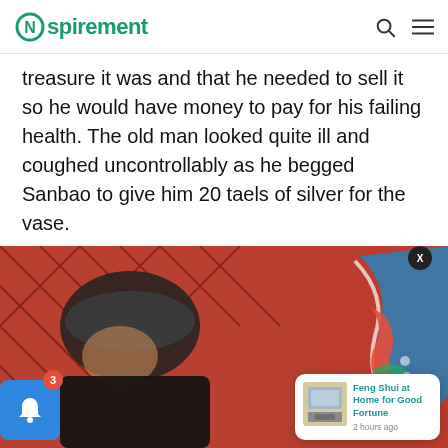Nspirement
treasure it was and that he needed to sell it so he would have money to pay for his failing health. The old man looked quite ill and coughed uncontrollably as he begged Sanbao to give him 20 taels of silver for the vase.
[Figure (photo): An elderly man wearing a dark flat cap, photographed in front of a red latticed background with a colorful decorative dragon/phoenix motif in blue, red, and green on the right side.]
[Figure (screenshot): A notification popup showing 'Feng Shui at Home for Good Fortune' article with a thumbnail of an interior room, timestamped '2 hours ago', with an X close button and a blue bell notification button with badge showing 3.]